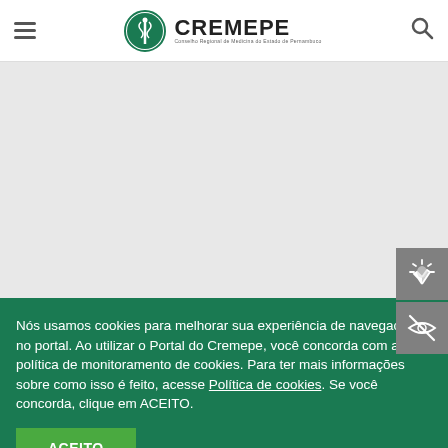CREMEPE - Conselho Regional de Medicina do Estado de Pernambuco
[Figure (screenshot): Gray content area representing the main page body/banner area]
[Figure (illustration): Accessibility icon: hand with light rays (sign language/accessibility)]
[Figure (illustration): Accessibility icon: eye with strikethrough (visual impairment accessibility)]
Nós usamos cookies para melhorar sua experiência de navegação no portal. Ao utilizar o Portal do Cremepe, você concorda com a política de monitoramento de cookies. Para ter mais informações sobre como isso é feito, acesse Política de cookies. Se você concorda, clique em ACEITO.
ACEITO